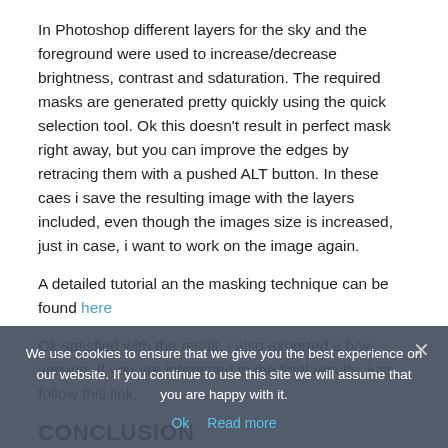In Photoshop different layers for the sky and the foreground were used to increase/decrease brightness, contrast and sdaturation. The required masks are generated pretty quickly using the quick selection tool. Ok this doesn't result in perfect mask right away, but you can improve the edges by retracing them with a pushed ALT button. In these caes i save the resulting image with the layers included, even though the images size is increased, just in case, i want to work on the image again.
A detailed tutorial an the masking technique can be found here
Ok satisfied with the result, i also exported a b/w version. If you are interested in the final results, just follow this link.
CONCLUSION
Ok you can discuss if you like the processing i've done at all, but on the base, the question is if image processing is required or not.